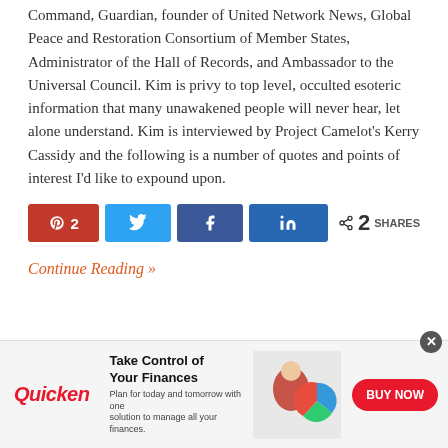Command, Guardian, founder of United Network News, Global Peace and Restoration Consortium of Member States, Administrator of the Hall of Records, and Ambassador to the Universal Council. Kim is privy to top level, occulted esoteric information that many unawakened people will never hear, let alone understand. Kim is interviewed by Project Camelot's Kerry Cassidy and the following is a number of quotes and points of interest I'd like to expound upon.
[Figure (other): Social sharing bar with Pinterest (2), Twitter, Facebook, LinkedIn buttons and share count of 2 SHARES]
Continue Reading »
[Figure (other): Quicken advertisement banner: Take Control of Your Finances. Plan for today and tomorrow with one solution to manage all your finances. BUY NOW button. Shows woman at laptop with Quicken pie chart graphic.]